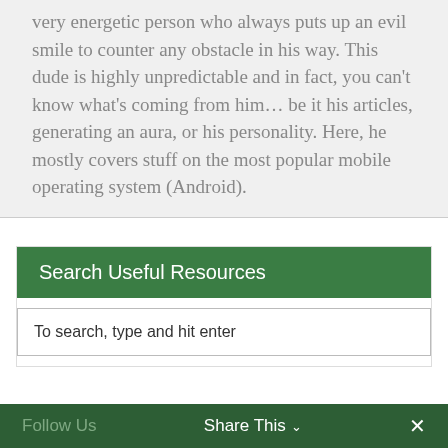very energetic person who always puts up an evil smile to counter any obstacle in his way. This dude is highly unpredictable and in fact, you can't know what's coming from him… be it his articles, generating an aura, or his personality. Here, he mostly covers stuff on the most popular mobile operating system (Android).
Search Useful Resources
To search, type and hit enter
Follow Us    Share This ∨    ✕